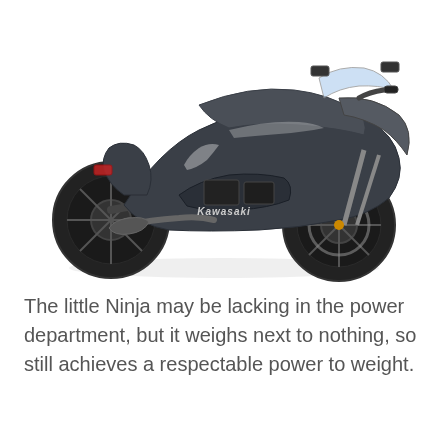[Figure (photo): A dark grey/black Kawasaki Ninja sport motorcycle shown in a three-quarter front-right view against a white background. The Kawasaki logo is visible on the fairing.]
The little Ninja may be lacking in the power department, but it weighs next to nothing, so still achieves a respectable power to weight.